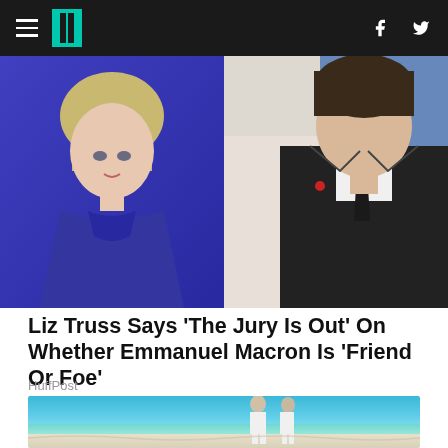HuffPost navigation bar with hamburger menu, logo, Facebook and Twitter icons
[Figure (photo): Split photo: left side shows Liz Truss in blue jacket, right side shows Emmanuel Macron in dark suit with tie]
Liz Truss Says 'The Jury Is Out' On Whether Emmanuel Macron Is 'Friend Or Foe'
HuffPost
[Figure (photo): Elderly couple in white clothing walking on a sandy beach with turquoise water and blue sky]